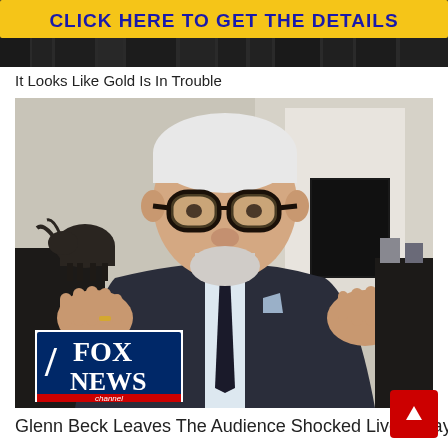[Figure (screenshot): Advertisement banner with yellow background and blue text reading 'CLICK HERE TO GET THE DETAILS', with a dark cityscape/building image below]
It Looks Like Gold Is In Trouble
[Figure (screenshot): Photo of a man with white/gray hair, beard, and large dark-rimmed glasses, wearing a dark suit, gesturing with both hands raised, sitting in front of a fireplace. Fox News channel logo visible in lower left corner.]
Glenn Beck Leaves The Audience Shocked Live Today